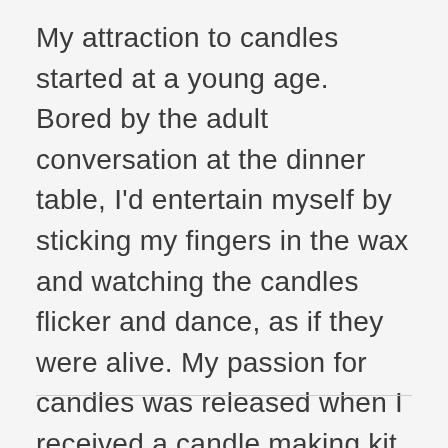My attraction to candles started at a young age. Bored by the adult conversation at the dinner table, I'd entertain myself by sticking my fingers in the wax and watching the candles flicker and dance, as if they were alive. My passion for candles was released when I received a candle making kit on my 10th birthday, and continues to this day. I light candles in my house every day because they are uplifting and they make me feel good. Recently I have combined my fascination with crystals with my candle making practice to create The Good llama Co.